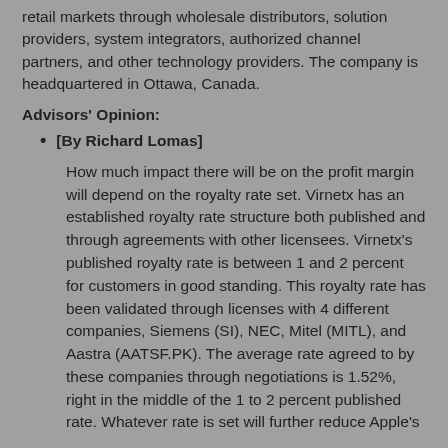retail markets through wholesale distributors, solution providers, system integrators, authorized channel partners, and other technology providers. The company is headquartered in Ottawa, Canada.
Advisors' Opinion:
[By Richard Lomas]
How much impact there will be on the profit margin will depend on the royalty rate set. Virnetx has an established royalty rate structure both published and through agreements with other licensees. Virnetx's published royalty rate is between 1 and 2 percent for customers in good standing. This royalty rate has been validated through licenses with 4 different companies, Siemens (SI), NEC, Mitel (MITL), and Aastra (AATSF.PK). The average rate agreed to by these companies through negotiations is 1.52%, right in the middle of the 1 to 2 percent published rate. Whatever rate is set will further reduce Apple's